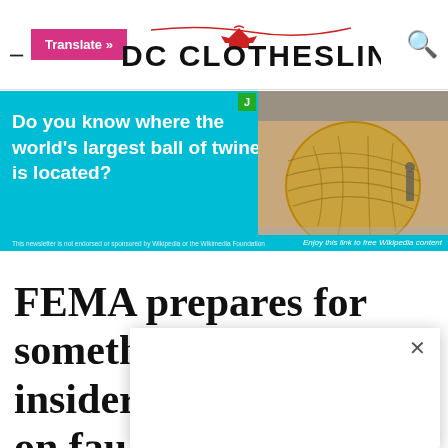DC CLOTHESLINE
[Figure (photo): Advertisement banner with cyan/blue background showing text 'Do you know where the world's largest ball of twine is located?' on the left with a photo of a large ball of twine on the right. Fine print at bottom left and 'Enjoy this link to free Wikipedia content' at bottom right.]
FEMA prepares for something big, says insider: 'Major strain on fau... sep... s' ins...